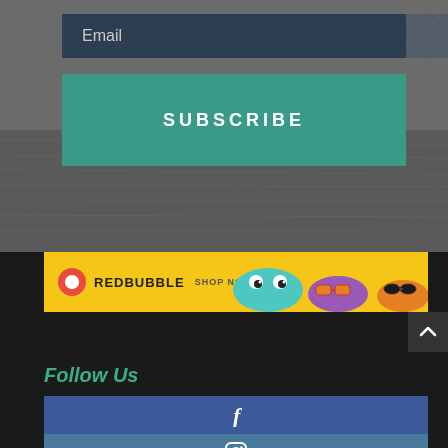Email
SUBSCRIBE
[Figure (screenshot): RedBubble advertisement banner with yellow background, red circle logo, REDBUBBLE text, SHOP NOW text, and colorful face mask illustrations]
[Figure (illustration): Scroll to top button with upward arrow chevron]
Follow Us
[Figure (illustration): Facebook button - blue rectangle with white f icon]
[Figure (illustration): Instagram button - steel blue rectangle with white camera icon]